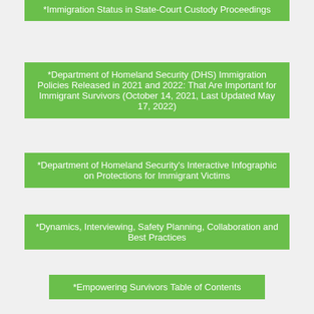*Immigration Status in State-Court Custody Proceedings
*Department of Homeland Security (DHS) Immigration Policies Released in 2021 and 2022: That Are Important for Immigrant Survivors (October 14, 2021, Last Updated May 17, 2022)
*Department of Homeland Security’s Interactive Infographic on Protections for Immigrant Victims
*Dynamics, Interviewing, Safety Planning, Collaboration and Best Practices
*Empowering Survivors Table of Contents
*Evidence Checklists
*Evidence Checklists For Work With Immigrant Survivors (February 11, 2017)
*Family Law FAQs